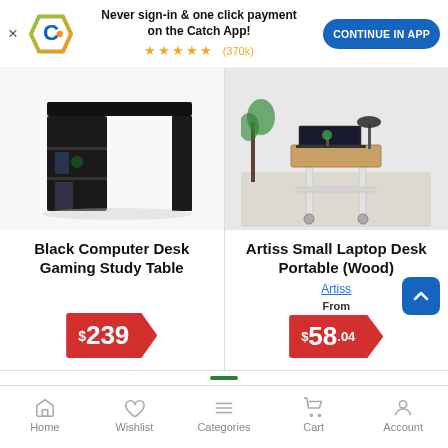[Figure (screenshot): Catch app promotional banner with logo, text 'Never sign-in & one click payment on the Catch App!', star rating (370k reviews), and 'CONTINUE IN APP' button]
[Figure (photo): Black L-shaped computer gaming study desk with shelves on the left side]
Black Computer Desk Gaming Study Table
$239
[Figure (photo): Artiss small portable laptop desk with wooden top on white adjustable frame with wheels, laptop and lamp on top]
Artiss Small Laptop Desk Portable (Wood)
Artiss
From $58.04
Home  Wishlist  Categories  Cart  Account